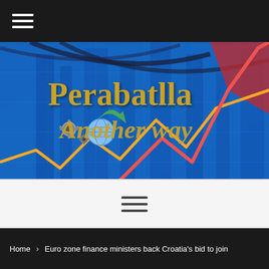≡ (hamburger menu icon)
[Figure (illustration): Website banner for 'Perabatlla Another way' — a financial/business blog. Blue background with stock market chart lines (red and yellow arrows), gear icons, and globe. Gold serif text reads 'Perabatlla' and italic gold text reads 'Another way'.]
≡ (hamburger menu icon, centered)
Home › Euro zone finance ministers back Croatia's bid to join